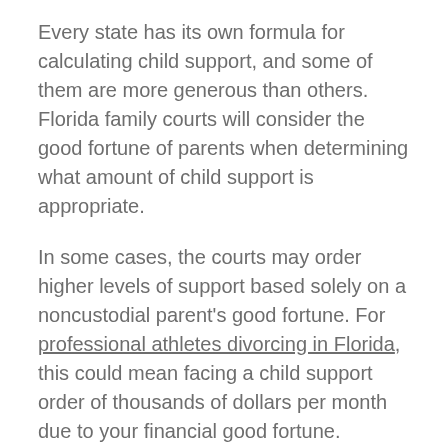Every state has its own formula for calculating child support, and some of them are more generous than others. Florida family courts will consider the good fortune of parents when determining what amount of child support is appropriate.
In some cases, the courts may order higher levels of support based solely on a noncustodial parent's good fortune. For professional athletes divorcing in Florida, this could mean facing a child support order of thousands of dollars per month due to your financial good fortune.
Your ex could ask for more support if you start